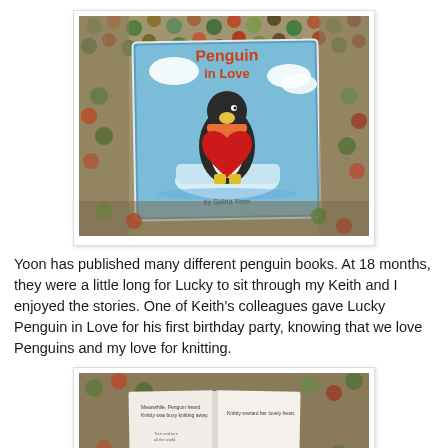[Figure (photo): Photo of 'Penguin in Love' children's book by Salina Yoon, lying on a colorful knitted/textured blanket background. The book cover shows a penguin holding a red heart on an ice floe with clouds.]
Yoon has published many different penguin books.  At 18 months, they were a little long for Lucky to sit through my Keith and I enjoyed the stories.  One of Keith's colleagues gave Lucky Penguin in Love for his first birthday party, knowing that we love Penguins and my love for knitting.
[Figure (photo): Photo of the inside pages of 'Penguin in Love' book, open to show two pages of text, resting on the same colorful knitted/textured blanket background.]